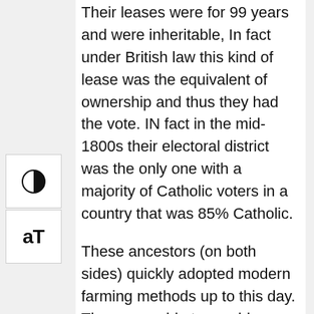Their leases were for 99 years and were inheritable, In fact under British law this kind of lease was the equivalent of ownership and thus they had the vote. IN fact in the mid-1800s their electoral district was the only one with a majority of Catholic voters in a country that was 85% Catholic.
These ancestors (on both sides) quickly adopted modern farming methods up to this day. They were able to provide good dowries to all their children, male and female. They accumulated cash over